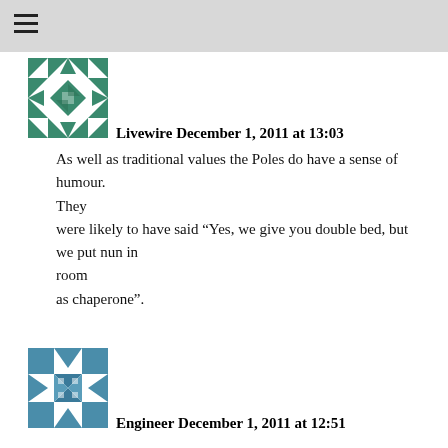[Figure (logo): Green geometric quilt-pattern avatar for user Livewire]
Livewire December 1, 2011 at 13:03
As well as traditional values the Poles do have a sense of humour.
They
were likely to have said “Yes, we give you double bed, but we put nun in
room
as chaperone”.
[Figure (logo): Blue geometric quilt-pattern avatar for user Engineer]
Engineer December 1, 2011 at 12:51